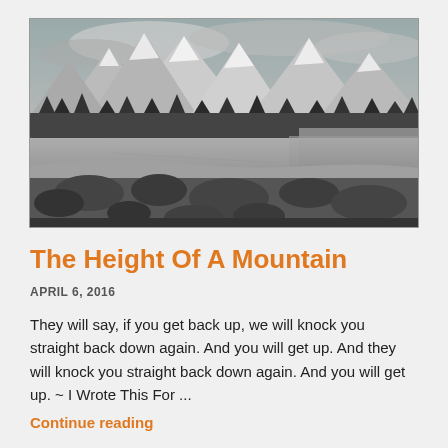[Figure (photo): Black and white landscape photograph of snow-capped mountains with a lake and rocky foreground, evergreen trees in the middle ground]
The Height Of A Mountain
APRIL 6, 2016
They will say, if you get back up, we will knock you straight back down again. And you will get up. And they will knock you straight back down again. And you will get up. ~ I Wrote This For ...
Continue reading